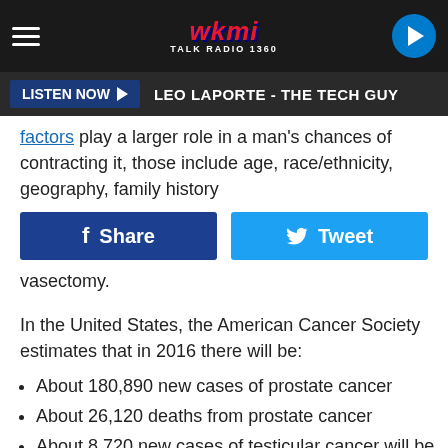WKMI Talk Radio 1360 | LEO LAPORTE - THE TECH GUY
factors play a larger role in a man's chances of contracting it, those include age, race/ethnicity, geography, family history
vasectomy.
In the United States, the American Cancer Society estimates that in 2016 there will be:
About 180,890 new cases of prostate cancer
About 26,120 deaths from prostate cancer
About 8,720 new cases of testicular cancer will be diagnosed